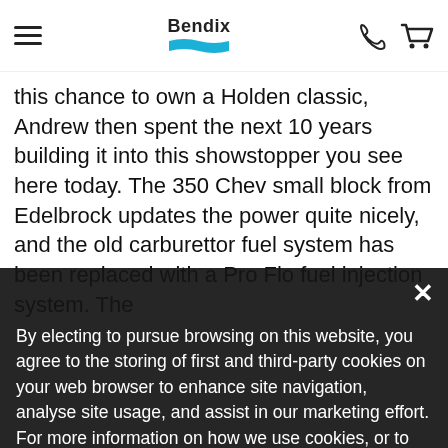Bendix [logo] [hamburger menu] [phone icon] [cart icon]
this chance to own a Holden classic, Andrew then spent the next 10 years building it into this showstopper you see here today. The 350 Chev small block from Edelbrock updates the power quite nicely, and the old carburettor fuel system has been replaced with a Pro Flo fuel injection system. The transmission, brakes and steering, have been pulled from more modern Holdens to update the driving experience. The interior has been retrimmed, stainless, rocker covers are sitting on a wood floor liner, Andrew changed the instrument make a new cluster. A new booster for the improved and temperature while retaining the various aesthetics. The exterior is given a fresh coat of Mica Gold and Stone white, and all the chrome bits have been restored to their 1950s glory.
By electing to pursue browsing on this website, you agree to the storing of first and third-party cookies on your web browser to enhance site navigation, analyse site usage, and assist in our marketing effort. For more information on how we use cookies, or to learn how you can disable cookies please see our Cookie Policy.